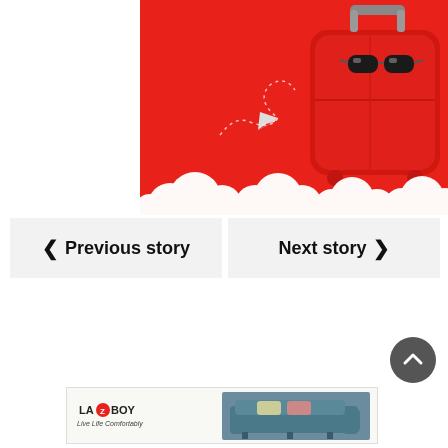[Figure (illustration): Travel-themed illustration with a red suitcase, sunglasses, paper airplane with dotted trail path, and white clouds at the bottom, all on a red background]
< Previous story
Next story >
[Figure (other): Scroll-to-top button (dark circular arrow icon)]
[Figure (other): La-Z-Boy advertisement banner showing a teal sofa and the La-Z-Boy logo with tagline]